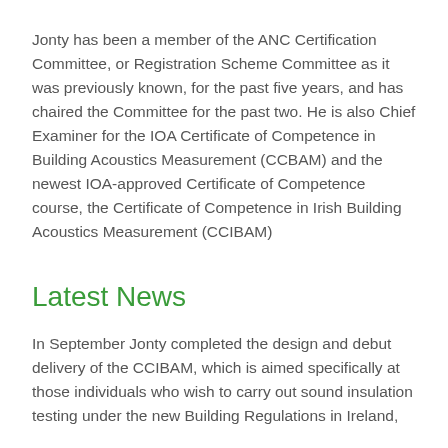Jonty has been a member of the ANC Certification Committee, or Registration Scheme Committee as it was previously known, for the past five years, and has chaired the Committee for the past two. He is also Chief Examiner for the IOA Certificate of Competence in Building Acoustics Measurement (CCBAM) and the newest IOA-approved Certificate of Competence course, the Certificate of Competence in Irish Building Acoustics Measurement (CCIBAM)
Latest News
In September Jonty completed the design and debut delivery of the CCIBAM, which is aimed specifically at those individuals who wish to carry out sound insulation testing under the new Building Regulations in Ireland,